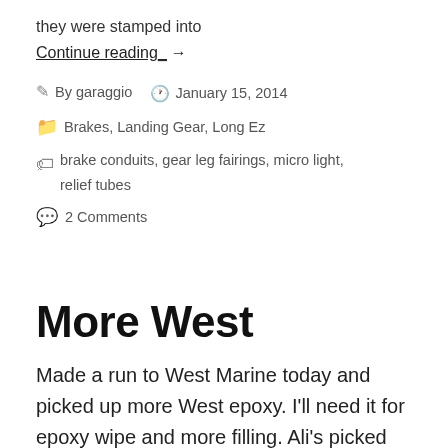they were stamped into
Continue reading_ →
By garaggio   January 15, 2014
Brakes, Landing Gear, Long Ez
brake conduits, gear leg fairings, micro light, relief tubes
2 Comments
More West
Made a run to West Marine today and picked up more West epoxy. I'll need it for epoxy wipe and more filling. Ali's picked up micro light filler. I have